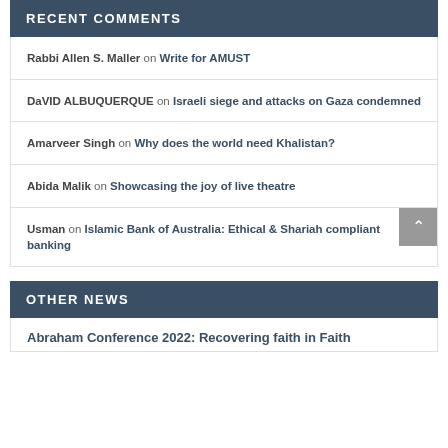RECENT COMMENTS
Rabbi Allen S. Maller on Write for AMUST
DaVID ALBUQUERQUE on Israeli siege and attacks on Gaza condemned
Amarveer Singh on Why does the world need Khalistan?
Abida Malik on Showcasing the joy of live theatre
Usman on Islamic Bank of Australia: Ethical & Shariah compliant banking
OTHER NEWS
Abraham Conference 2022: Recovering faith in Faith